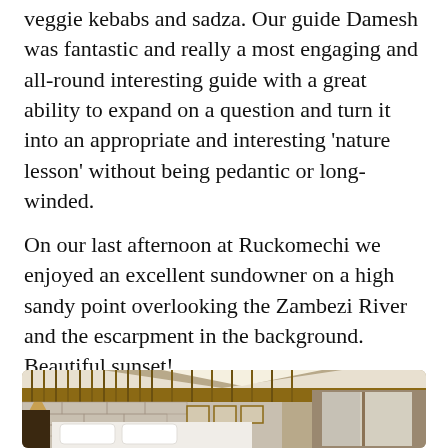veggie kebabs and sadza. Our guide Damesh was fantastic and really a most engaging and all-round interesting guide with a great ability to expand on a question and turn it into an appropriate and interesting 'nature lesson' without being pedantic or long-winded.
On our last afternoon at Ruckomechi we enjoyed an excellent sundowner on a high sandy point overlooking the Zambezi River and the escarpment in the background. Beautiful sunset!
[Figure (photo): Interior of a safari lodge tent room showing a large bed with white pillows and bedding, stone/brick wall behind the headboard, bamboo/reed partition at the top near a white tent canvas ceiling, wooden furniture including bedside tables with lamps, framed pictures on the wall, and curtained windows to the right.]